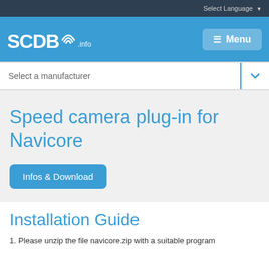Select Language
[Figure (logo): SCDB.info logo with wifi signal icon in white on blue background]
Menu
Select a manufacturer
Speed camera plug-in for Navicore
Infos & Download
Installation Guide
Please unzip the file navicore.zip with a suitable program